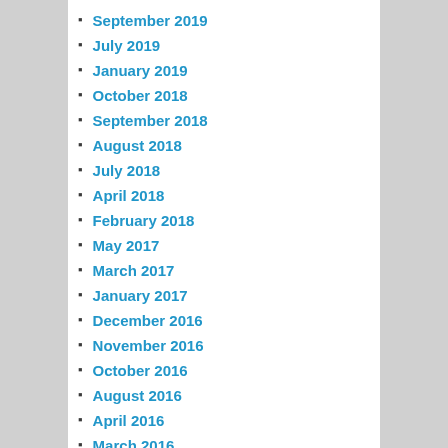September 2019
July 2019
January 2019
October 2018
September 2018
August 2018
July 2018
April 2018
February 2018
May 2017
March 2017
January 2017
December 2016
November 2016
October 2016
August 2016
April 2016
March 2016
November 2015
July 2014
February 2014